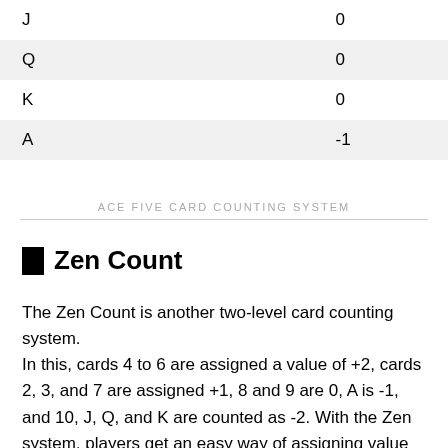| J | 0 |
| Q | 0 |
| K | 0 |
| A | -1 |
ACE FIVE CARD COUNTING SYSTEM
Zen Count
The Zen Count is another two-level card counting system.
In this, cards 4 to 6 are assigned a value of +2, cards 2, 3, and 7 are assigned +1, 8 and 9 are 0, A is -1, and 10, J, Q, and K are counted as -2. With the Zen system, players get an easy way of assigning value to the cards and gaining